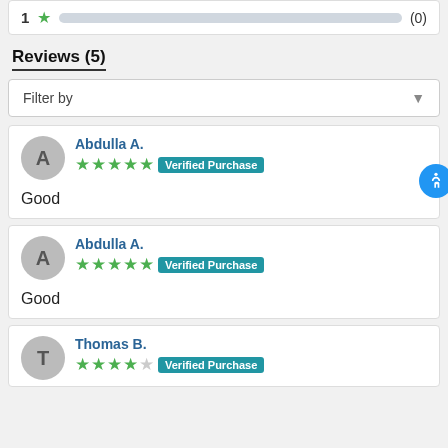1 ★ (0)
Reviews (5)
Filter by
Abdulla A. ★★★★★ Verified Purchase Good
Abdulla A. ★★★★★ Verified Purchase Good
Thomas B. ★★★★☆ Verified Purchase